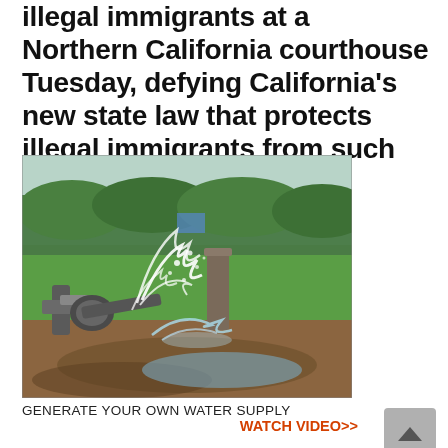illegal immigrants at a Northern California courthouse Tuesday, defying California's new state law that protects illegal immigrants from such arrests.
[Figure (photo): A water pump spewing water forcefully onto muddy ground near a green agricultural field with trees in the background.]
GENERATE YOUR OWN WATER SUPPLY WATCH VIDEO>>
ICE said California's laws do not trump